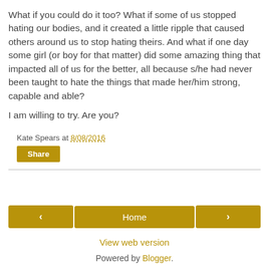What if you could do it too? What if some of us stopped hating our bodies, and it created a little ripple that caused others around us to stop hating theirs. And what if one day some girl (or boy for that matter) did some amazing thing that impacted all of us for the better, all because s/he had never been taught to hate the things that made her/him strong, capable and able?
I am willing to try. Are you?
Kate Spears at 8/08/2016
Share
< Home >
View web version
Powered by Blogger.